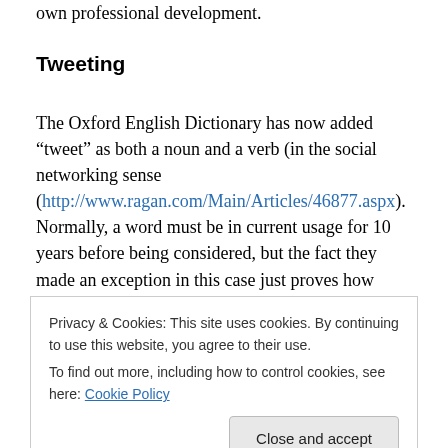own professional development.
Tweeting
The Oxford English Dictionary has now added “tweet” as both a noun and a verb (in the social networking sense (http://www.ragan.com/Main/Articles/46877.aspx). Normally, a word must be in current usage for 10 years before being considered, but the fact they made an exception in this case just proves how important this tool is
Privacy & Cookies: This site uses cookies. By continuing to use this website, you agree to their use.
To find out more, including how to control cookies, see here: Cookie Policy
rapid forum for sharing and discussing new ideas.